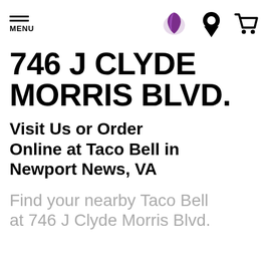MENU | [Taco Bell logo] | [location icon] | [cart icon]
746 J CLYDE MORRIS BLVD.
Visit Us or Order Online at Taco Bell in Newport News, VA
Find your nearby Taco Bell at 746 J Clyde Morris Blvd.